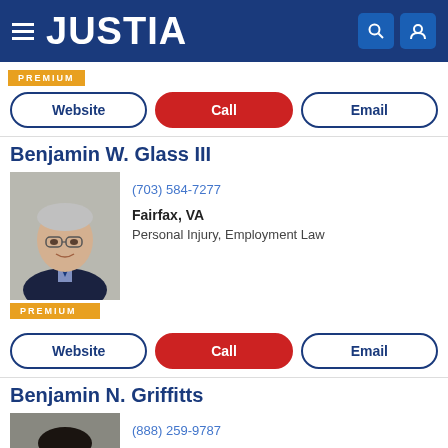JUSTIA
[Figure (other): PREMIUM badge]
Website | Call | Email (action buttons)
Benjamin W. Glass III
[Figure (photo): Photo of Benjamin W. Glass III, older man with gray hair, glasses, dark jacket]
(703) 584-7277
Fairfax, VA
Personal Injury, Employment Law
[Figure (other): PREMIUM badge]
Website | Call | Email (action buttons)
Benjamin N. Griffitts
[Figure (photo): Photo of Benjamin N. Griffitts, younger man with dark hair and beard]
(888) 259-9787
Fairfax, VA